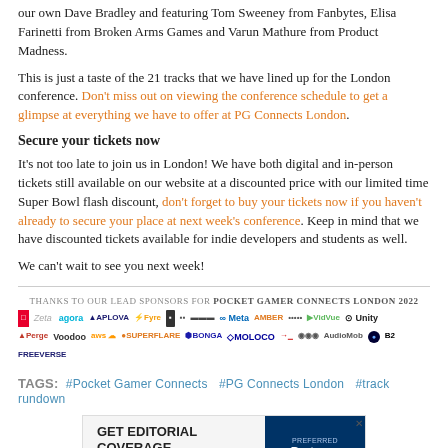our own Dave Bradley and featuring Tom Sweeney from Fanbytes, Elisa Farinetti from Broken Arms Games and Varun Mathure from Product Madness.
This is just a taste of the 21 tracks that we have lined up for the London conference. Don't miss out on viewing the conference schedule to get a glimpse at everything we have to offer at PG Connects London.
Secure your tickets now
It's not too late to join us in London! We have both digital and in-person tickets still available on our website at a discounted price with our limited time Super Bowl flash discount, don't forget to buy your tickets now if you haven't already to secure your place at next week's conference. Keep in mind that we have discounted tickets available for indie developers and students as well.
We can't wait to see you next week!
THANKS TO OUR LEAD SPONSORS FOR POCKET GAMER CONNECTS LONDON 2022
[Figure (logo): Row of sponsor logos for Pocket Gamer Connects London 2022 including Zeta, Agora, Aplova, Fyre, Meta, Amber, VidVue, Unity, Perge, Voodoo, AWS, Superflare, Bonga, Moloco, Audiomob, B2, Freeverse and others]
TAGS: #Pocket Gamer Connects #PG Connects London #track rundown
[Figure (infographic): Advertisement banner reading GET EDITORIAL COVERAGE ACROSS OUR NETWORK with Preferred Partners logo on dark blue background]